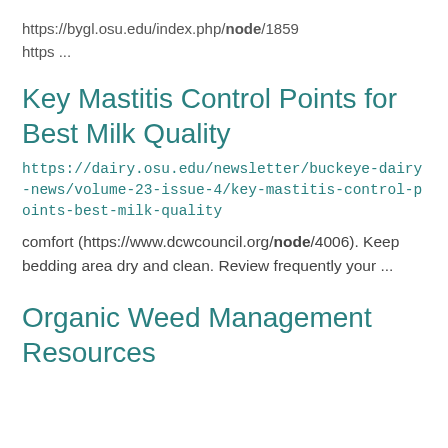https://bygl.osu.edu/index.php/node/1859
https ...
Key Mastitis Control Points for Best Milk Quality
https://dairy.osu.edu/newsletter/buckeye-dairy-news/volume-23-issue-4/key-mastitis-control-points-best-milk-quality
comfort (https://www.dcwcouncil.org/node/4006). Keep bedding area dry and clean. Review frequently your ...
Organic Weed Management Resources